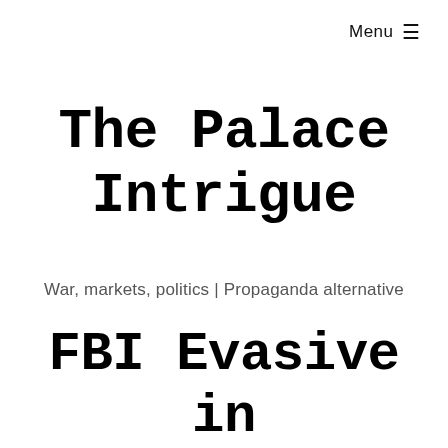Menu ☰
The Palace Intrigue
War, markets, politics | Propaganda alternative
FBI Evasive in